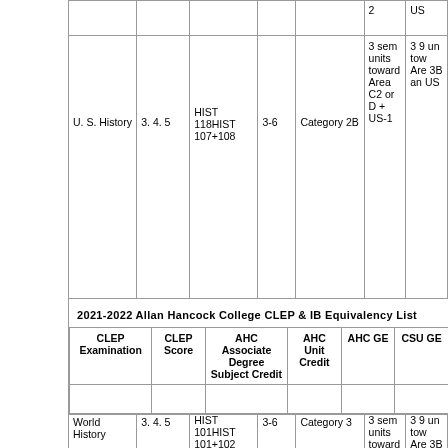|  |  | AHC Associate Degree Subject Credit |  | AHC GE | CSU GE |
| --- | --- | --- | --- | --- | --- |
|  |  |  | 2 |  | US |
| U. S. History | 3. 4. 5 | HIST 118HIST 107+108 | 3-6 | Category 2B | 3 sem units toward Area C2 or D + US-1 | 3 9 un tow Are 3B an US |
| World History | 3. 4. 5 | HIST 101HIST 101+102 | 3-6 | Category 3 | 3 sem units toward Area C2 or D | 3 9 un tow Are 3B |
2021-2022 Allan Hancock College CLEP & IB Equivalency List
| CLEP Examination | CLEP Score | AHC Associate Degree Subject Credit | AHC Unit Credit | AHC GE | CSU GE |
| --- | --- | --- | --- | --- | --- |